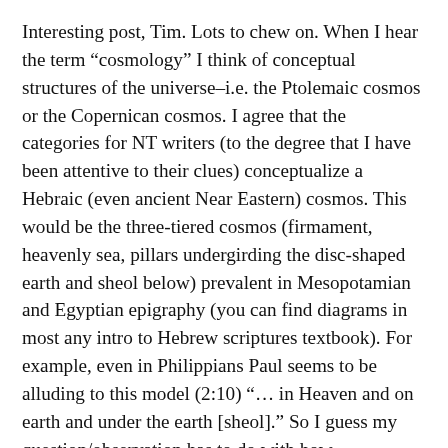Interesting post, Tim. Lots to chew on. When I hear the term “cosmology” I think of conceptual structures of the universe–i.e. the Ptolemaic cosmos or the Copernican cosmos. I agree that the categories for NT writers (to the degree that I have been attentive to their clues) conceptualize a Hebraic (even ancient Near Eastern) cosmos. This would be the three-tiered cosmos (firmament, heavenly sea, pillars undergirding the disc-shaped earth and sheol below) prevalent in Mesopotamian and Egyptian epigraphy (you can find diagrams in most any intro to Hebrew scriptures textbook). For example, even in Philippians Paul seems to be alluding to this model (2:10) “… in Heaven and on earth and under the earth [sheol].” So I guess my question/observation has to do with how platonic/neo-platonic forms (real/ideal) mesh with the physical conceptualizations of the three tiered universe/cosmos, or not. And are there hints in